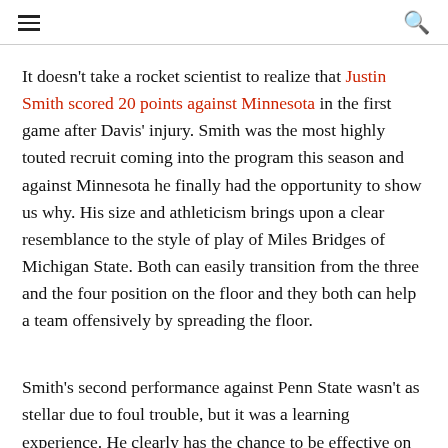≡  🔍
It doesn't take a rocket scientist to realize that Justin Smith scored 20 points against Minnesota in the first game after Davis' injury. Smith was the most highly touted recruit coming into the program this season and against Minnesota he finally had the opportunity to show us why. His size and athleticism brings upon a clear resemblance to the style of play of Miles Bridges of Michigan State. Both can easily transition from the three and the four position on the floor and they both can help a team offensively by spreading the floor.
Smith's second performance against Penn State wasn't as stellar due to foul trouble, but it was a learning experience. He clearly has the chance to be effective on the floor as long as he stays on it...